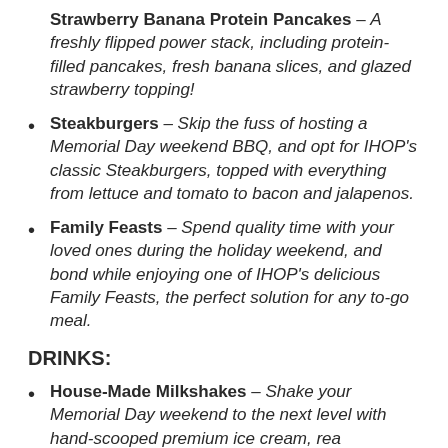Strawberry Banana Protein Pancakes – A freshly flipped power stack, including protein-filled pancakes, fresh banana slices, and glazed strawberry topping!
Steakburgers – Skip the fuss of hosting a Memorial Day weekend BBQ, and opt for IHOP's classic Steakburgers, topped with everything from lettuce and tomato to bacon and jalapenos.
Family Feasts – Spend quality time with your loved ones during the holiday weekend, and bond while enjoying one of IHOP's delicious Family Feasts, the perfect solution for any to-go meal.
DRINKS:
House-Made Milkshakes – Shake your Memorial Day weekend to the next level with hand-scooped premium ice cream, real